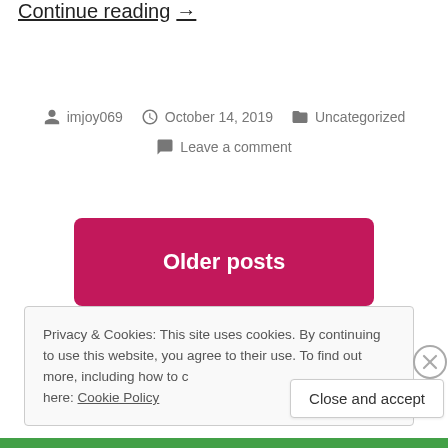Continue reading →
imjoy069  October 14, 2019  Uncategorized  Leave a comment
Older posts
Privacy & Cookies: This site uses cookies. By continuing to use this website, you agree to their use. To find out more, including how to control cookies, see here: Cookie Policy
Close and accept